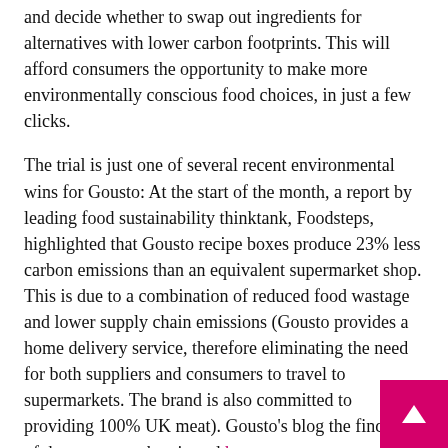and decide whether to swap out ingredients for alternatives with lower carbon footprints. This will afford consumers the opportunity to make more environmentally conscious food choices, in just a few clicks.
The trial is just one of several recent environmental wins for Gousto: At the start of the month, a report by leading food sustainability thinktank, Foodsteps, highlighted that Gousto recipe boxes produce 23% less carbon emissions than an equivalent supermarket shop. This is due to a combination of reduced food wastage and lower supply chain emissions (Gousto provides a home delivery service, therefore eliminating the need for both suppliers and consumers to travel to supermarkets. The brand is also committed to providing 100% UK meat). Gousto's blog the findings of the report can be viewed here.
However, avid RPC Bites readers will remember that the